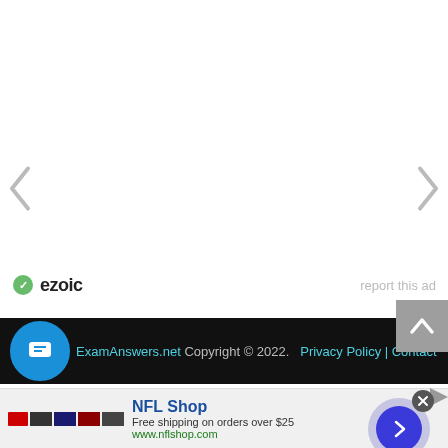[Figure (screenshot): Navigation left arrow chevron on white background]
[Figure (screenshot): Navigation right arrow chevron on white background]
[Figure (screenshot): Ezoic logo with circular green icon and text 'ezoic', with 'report this ad' link to the right]
ExamAnswers.net Copyright © 2022.  Privacy Policy | Contact
[Figure (screenshot): Advertisement banner: NFL Shop - Free shipping on orders over $25 - www.nflshop.com]